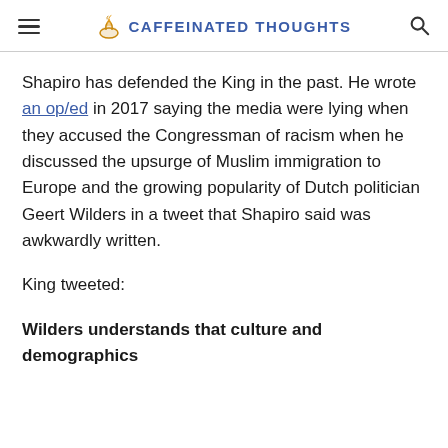≡  ☕ CAFFEINATED THOUGHTS  🔍
Shapiro has defended the King in the past. He wrote an op/ed in 2017 saying the media were lying when they accused the Congressman of racism when he discussed the upsurge of Muslim immigration to Europe and the growing popularity of Dutch politician Geert Wilders in a tweet that Shapiro said was awkwardly written.
King tweeted:
Wilders understands that culture and demographics